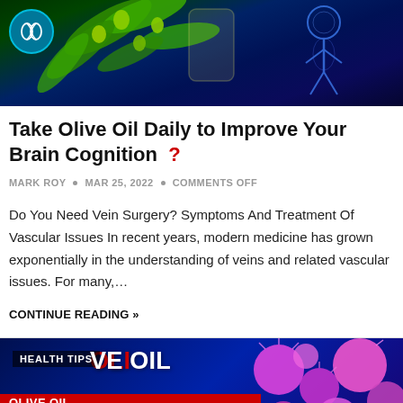[Figure (photo): Top banner with olive branches, olive oil, and a blue human anatomy figure on dark blue background, with a lung logo circle in the top left.]
Take Olive Oil Daily to Improve Your Brain Cognition ?
MARK ROY • MAR 25, 2022 • COMMENTS OFF
Do You Need Vein Surgery? Symptoms And Treatment Of Vascular Issues In recent years, modern medicine has grown exponentially in the understanding of veins and related vascular issues. For many,…
CONTINUE READING »
[Figure (photo): Bottom banner with dark blue background showing pink/purple bacteria balls on the right, text 'HEALTH TIPS' label, 'OLIVE OIL' in white, and 'BACTERIA?' in black on yellow background. Back-to-top arrow button in bottom right.]